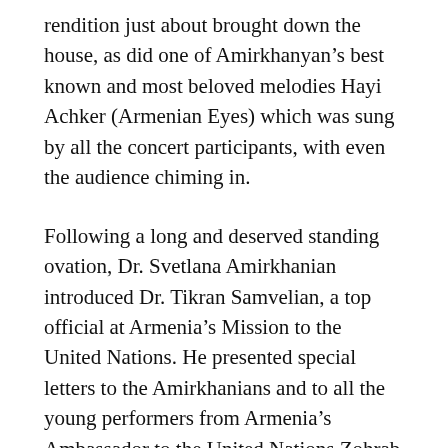rendition just about brought down the house, as did one of Amirkhanyan's best known and most beloved melodies Hayi Achker (Armenian Eyes) which was sung by all the concert participants, with even the audience chiming in.
Following a long and deserved standing ovation, Dr. Svetlana Amirkhanian introduced Dr. Tikran Samvelian, a top official at Armenia's Mission to the United Nations. He presented special letters to the Amirkhanians and to all the young performers from Armenia's Ambassador to the United Nations Zohrab Mnatsakanyan.